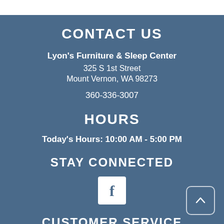CONTACT US
Lyon's Furniture & Sleep Center
325 S 1st Street
Mount Vernon, WA 98273

360-336-3007
HOURS
Today's Hours: 10:00 AM - 5:00 PM
STAY CONNECTED
[Figure (logo): Facebook logo icon in white square box]
CUSTOMER SERVICE